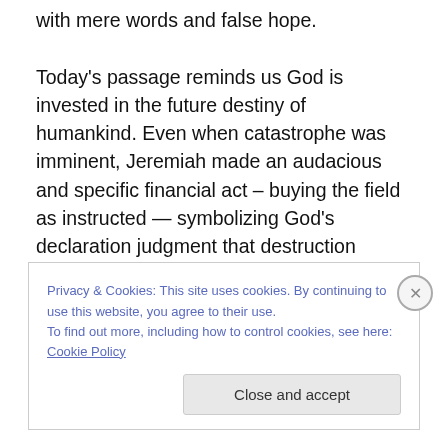with mere words and false hope.

Today's passage reminds us God is invested in the future destiny of humankind. Even when catastrophe was imminent, Jeremiah made an audacious and specific financial act – buying the field as instructed — symbolizing God's declaration judgment that destruction would not have the final word. Judah would certainly suffer the judgment God had announced. Babylon would destroy Jerusalem and Judah and carry off its inhabitants into exile. The prophet, however, activates the future in the
Privacy & Cookies: This site uses cookies. By continuing to use this website, you agree to their use.
To find out more, including how to control cookies, see here: Cookie Policy